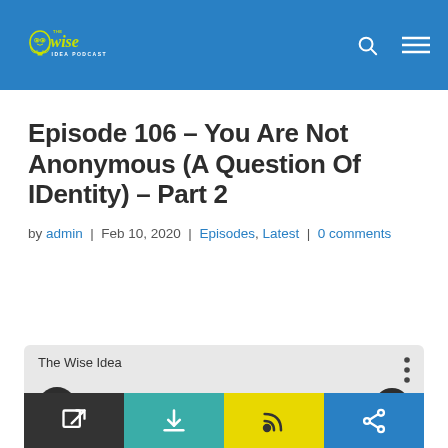[Figure (logo): The Wise Idea Podcast logo — yellow lightbulb with face, yellow script 'wise', white text 'IDEA PODCAST' on blue header background]
Episode 106 – You Are Not Anonymous (A Question Of IDentity) – Part 2
by admin  |  Feb 10, 2020  |  Episodes, Latest  |  0 comments
[Figure (screenshot): Audio podcast player widget — The Wise Idea, 0:00 playhead, 0:00 duration, play button, progress bar, volume button. Bottom row: dark open-in-new icon, teal download icon, yellow RSS icon, blue share icon.]